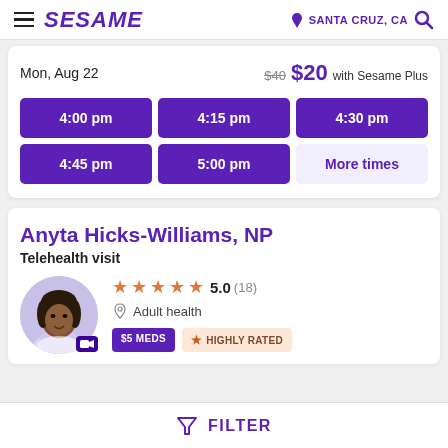SESAME | SANTA CRUZ, CA
Mon, Aug 22  $40 $20 with Sesame Plus
4:00 pm
4:15 pm
4:30 pm
4:45 pm
5:00 pm
More times
Anyta Hicks-Williams, NP
Telehealth visit
[Figure (photo): Photo of Anyta Hicks-Williams, NP]
5.0 (18)
Adult health
$5 MEDS  HIGHLY RATED
FILTER